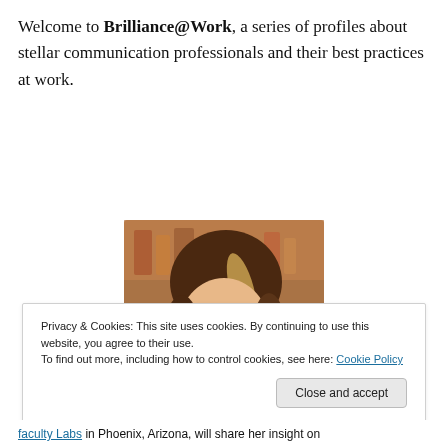Welcome to Brilliance@Work, a series of profiles about stellar communication professionals and their best practices at work.
[Figure (photo): Portrait photo of a woman with brown hair with blonde highlights, smiling, wearing a teal shirt, with a blurred bookshelf background]
Privacy & Cookies: This site uses cookies. By continuing to use this website, you agree to their use.
To find out more, including how to control cookies, see here: Cookie Policy
faculty Labs in Phoenix, Arizona, will share her insight on